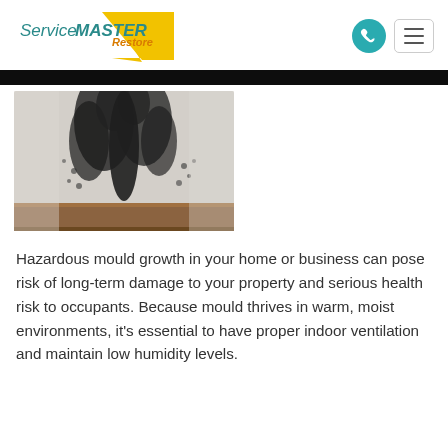[Figure (logo): ServiceMaster Restore logo with teal text, yellow triangle, and 'Restore' in gold italic]
[Figure (photo): Photograph of black mould growing in the corner of a wall, near wooden baseboard]
Hazardous mould growth in your home or business can pose risk of long-term damage to your property and serious health risk to occupants. Because mould thrives in warm, moist environments, it's essential to have proper indoor ventilation and maintain low humidity levels.